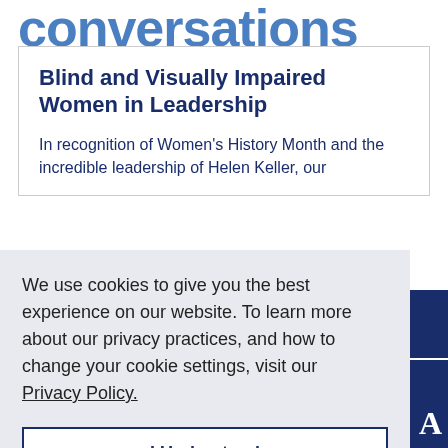conversations
Blind and Visually Impaired Women in Leadership
In recognition of Women's History Month and the incredible leadership of Helen Keller, our
We use cookies to give you the best experience on our website. To learn more about our privacy practices, and how to change your cookie settings, visit our Privacy Policy.
I Understand